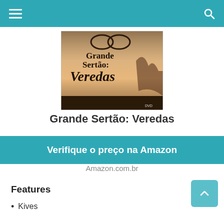[Figure (photo): DVD cover of 'Grande Sertão: Veredas' showing stylized text and silhouette figures against a sunset sky]
Grande Sertão: Veredas
Verifique o preço na Amazon
Amazon.com.br
Features
Kives